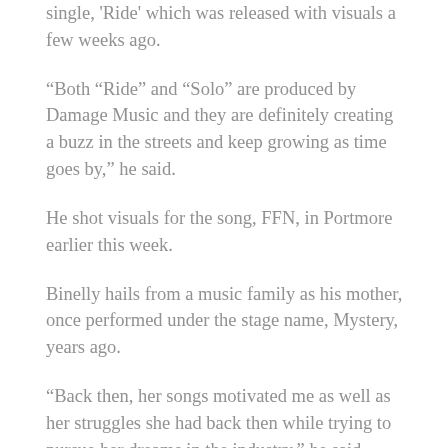single, 'Ride' which was released with visuals a few weeks ago.
“Both “Ride” and “Solo” are produced by Damage Music and they are definitely creating a buzz in the streets and keep growing as time goes by,” he said.
He shot visuals for the song, FFN, in Portmore earlier this week.
Binelly hails from a music family as his mother, once performed under the stage name, Mystery, years ago.
“Back then, her songs motivated me as well as her struggles she had back then while trying to pursue her dreams in the industry,” he said.
He believes that he can make a major impact in the Dancehall Game.
“My sound is just different. I truly believe that in order